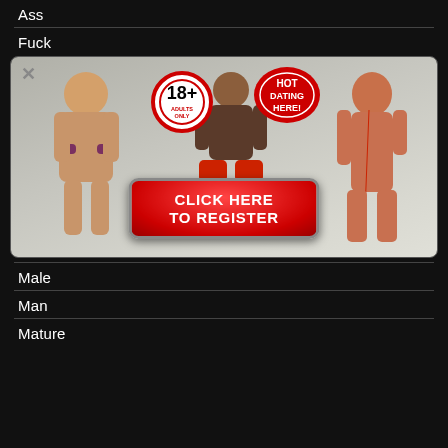Ass
Fuck
[Figure (advertisement): Adult dating advertisement banner with three women, 18+ Adults Only badge, HOT DATING HERE! badge, and a red CLICK HERE TO REGISTER button]
Male
Man
Mature